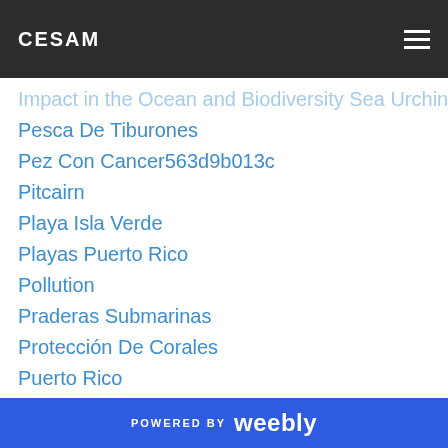CESAM
Pesca De Tiburones
Pez Con Cancer563d9b013c
Pitcairn
Playa Isla Verde
Playas Puerto Rico
Pollution
Praderas Submarinas
Protección De Corales
Puerto Rico
Reserva Isla Verde
Reserva Natura Culebra
Samuel Suleiman
Sea Turtle
Sea Urchin
Seaweed (partial)
POWERED BY weebly